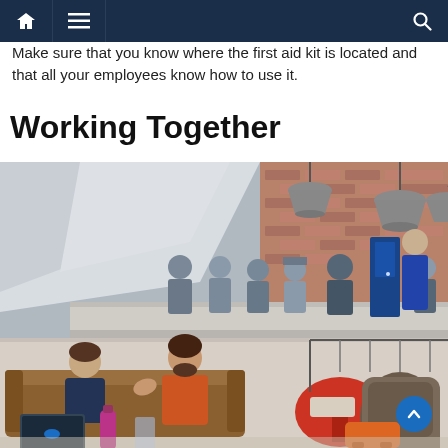Navigation bar with home, menu, and search icons
Make sure that you know where the first aid kit is located and that all your employees know how to use it.
Working Together
[Figure (photo): Office/coworking space photo showing people gathered around a counter area on an upper level and two people sitting on a leather couch in the foreground having a conversation, with brick walls, industrial pendant lights, and an open plan layout.]